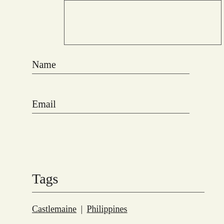[Figure (other): Textarea input box (comment form field) at top of page]
Name
Email
Post Comment
Tags
Castlemaine | Philippines